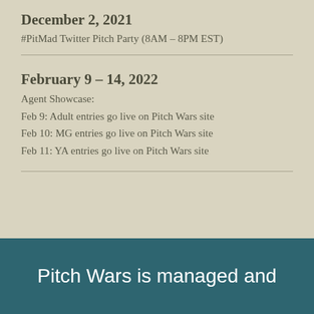December 2, 2021
#PitMad Twitter Pitch Party (8AM – 8PM EST)
February 9 – 14, 2022
Agent Showcase:
Feb 9: Adult entries go live on Pitch Wars site
Feb 10: MG entries go live on Pitch Wars site
Feb 11: YA entries go live on Pitch Wars site
Pitch Wars is managed and